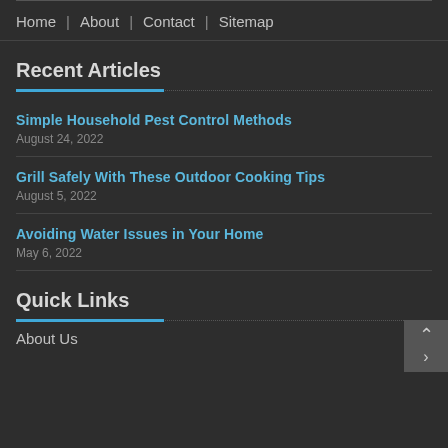Home | About | Contact | Sitemap
Recent Articles
Simple Household Pest Control Methods
August 24, 2022
Grill Safely With These Outdoor Cooking Tips
August 5, 2022
Avoiding Water Issues in Your Home
May 6, 2022
Quick Links
About Us